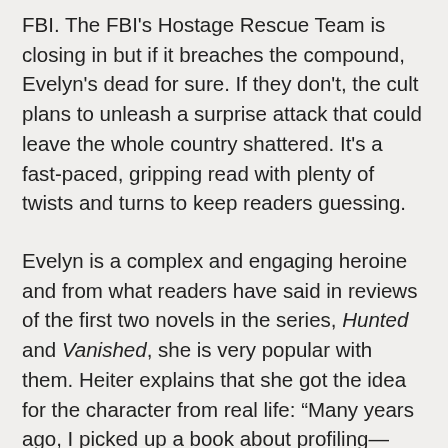FBI. The FBI's Hostage Rescue Team is closing in but if it breaches the compound, Evelyn's dead for sure. If they don't, the cult plans to unleash a surprise attack that could leave the whole country shattered. It's a fast-paced, gripping read with plenty of twists and turns to keep readers guessing.
Evelyn is a complex and engaging heroine and from what readers have said in reviews of the first two novels in the series, Hunted and Vanished, she is very popular with them. Heiter explains that she got the idea for the character from real life: “Many years ago, I picked up a book about profiling—Mindhunter by former FBI profiler John Douglas— and I was fascinated. The idea of having a character who would go to a crime scene and look at the behavioral clues instead of the physical ones (the pieces of him- or herself the perpetrator didn’t even know were visible in the crime itself) sounded very different.